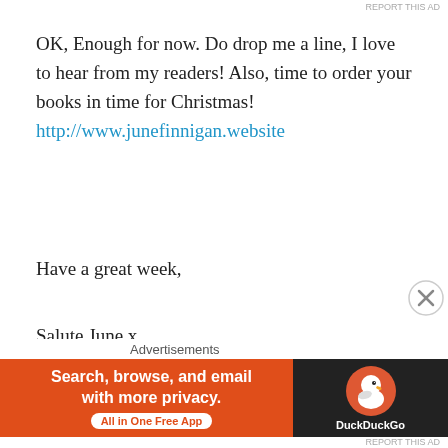REPORT THIS AD
OK, Enough for now. Do drop me a line, I love to hear from my readers! Also, time to order your books in time for Christmas! http://www.junefinnigan.website
Have a great week,
Salute June x
[Figure (photo): Photo of three books on a shelf: 'y Path in Asia', 'The Bolivia Connection', 'The Italian Connection' by June Finnigan, with red covers displayed]
[Figure (photo): Partial photo of trees/outdoor scene, partially visible at bottom]
Advertisements
[Figure (other): DuckDuckGo advertisement banner: 'Search, browse, and email with more privacy. All in One Free App' with DuckDuckGo duck logo on dark background]
REPORT THIS AD